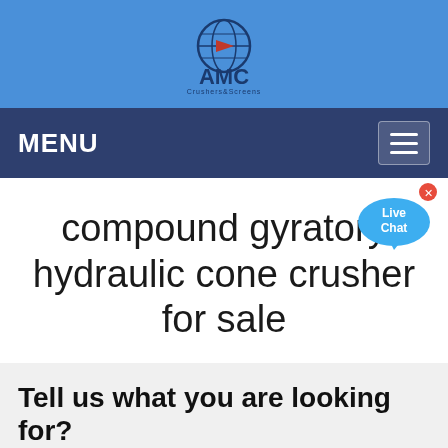[Figure (logo): AMC company logo with globe icon and text 'AMC' on blue banner header]
MENU
compound gyratory hydraulic cone crusher for sale
Tell us what you are looking for?
Please fill in and submit the following form, our service team will contact you as soon as possible and provide a complete solution.